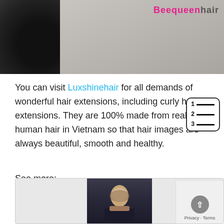[Figure (photo): Top banner photo showing dark curly hair extensions on the left and a white surface with the Beequeenhair logo on the right]
You can visit Luxshinehair for all demands of wonderful hair extensions, including curly hair extensions. They are 100% made from real human hair in Vietnam so that hair images are always beautiful, smooth and healthy.
[Figure (other): Table of contents icon with numbered list (1, 2, 3) with horizontal lines]
See more:
HOW TO HAVE PERFECT LOOKS WITH CURLY HAIR EXTENSIONS?
[Figure (photo): Bottom photo showing a man with styled hair and beard against a dark background, inside a bordered container, with a Privacy badge overlay in the bottom right]